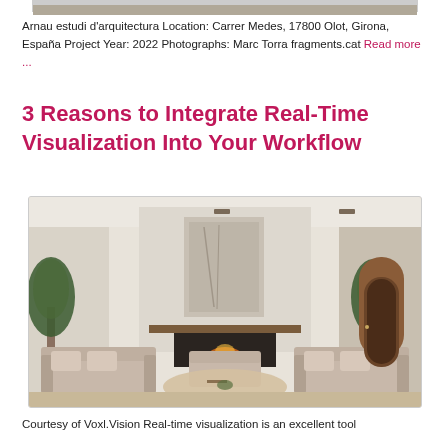[Figure (photo): Partial view of a building photo cropped at top of page]
Arnau estudi d'arquitectura Location: Carrer Medes, 17800 Olot, Girona, España Project Year: 2022 Photographs: Marc Torra fragments.cat Read more ...
3 Reasons to Integrate Real-Time Visualization Into Your Workflow
[Figure (photo): Interior photo of a modern minimalist living room with white walls, fireplace with active fire, large sofas, wooden coffee table, potted trees, and an arched doorway in the background.]
Courtesy of Voxl.Vision Real-time visualization is an excellent tool